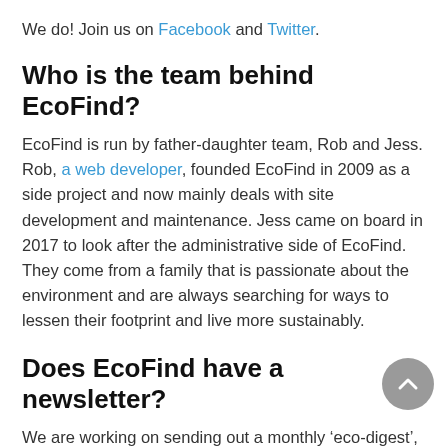We do! Join us on Facebook and Twitter.
Who is the team behind EcoFind?
EcoFind is run by father-daughter team, Rob and Jess. Rob, a web developer, founded EcoFind in 2009 as a side project and now mainly deals with site development and maintenance. Jess came on board in 2017 to look after the administrative side of EcoFind. They come from a family that is passionate about the environment and are always searching for ways to lessen their footprint and live more sustainably.
Does EcoFind have a newsletter?
We are working on sending out a monthly ‘eco-digest’, which will promote new Standard and Premium listings as well as including articles and news on sustainable living and conservation efforts based both in NZ and further afield.